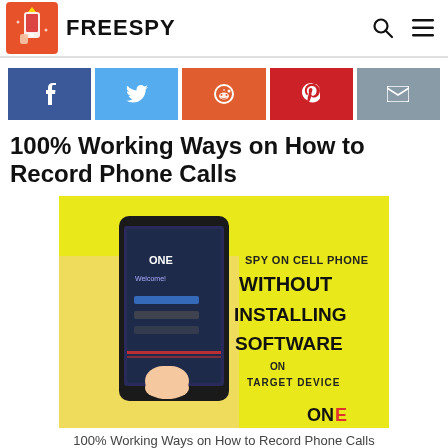FREESPY
[Figure (infographic): Social sharing buttons: Facebook (dark blue), Twitter (light blue), Reddit (orange-red), Pinterest (red), Email (gray)]
100% Working Ways on How to Record Phone Calls
[Figure (photo): Advertisement image with yellow background showing a hand holding a smartphone. Text reads: SPY ON CELL PHONE WITHOUT INSTALLING SOFTWARE ON TARGET DEVICE. Logo: ONE in bottom right.]
100% Working Ways on How to Record Phone Calls